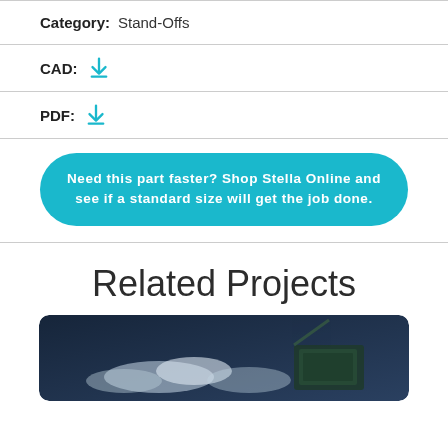Category: Stand-Offs
CAD: [download icon]
PDF: [download icon]
Need this part faster? Shop Stella Online and see if a standard size will get the job done.
Related Projects
[Figure (photo): Dark blue-toned project photo showing a structure against a night/dusk sky with clouds]